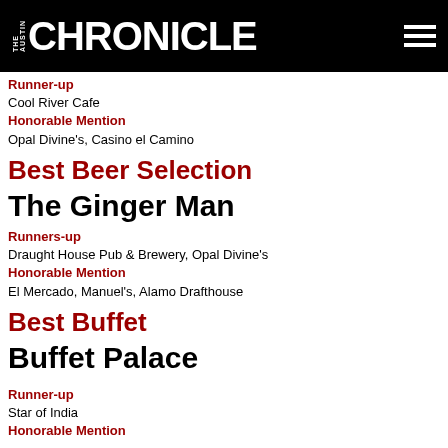THE AUSTIN CHRONICLE
Runner-up
Cool River Cafe
Honorable Mention
Opal Divine's, Casino el Camino
Best Beer Selection
The Ginger Man
Runners-up
Draught House Pub & Brewery, Opal Divine's
Honorable Mention
El Mercado, Manuel's, Alamo Drafthouse
Best Buffet
Buffet Palace
Runner-up
Star of India
Honorable Mention